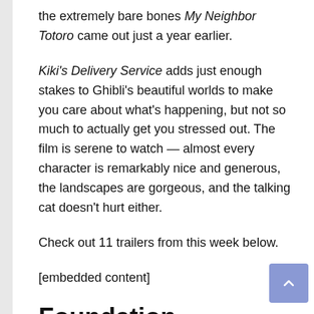the extremely bare bones My Neighbor Totoro came out just a year earlier.
Kiki's Delivery Service adds just enough stakes to Ghibli's beautiful worlds to make you care about what's happening, but not so much to actually get you stressed out. The film is serene to watch — almost every character is remarkably nice and generous, the landscapes are gorgeous, and the talking cat doesn't hurt either.
Check out 11 trailers from this week below.
[embedded content]
Foundation